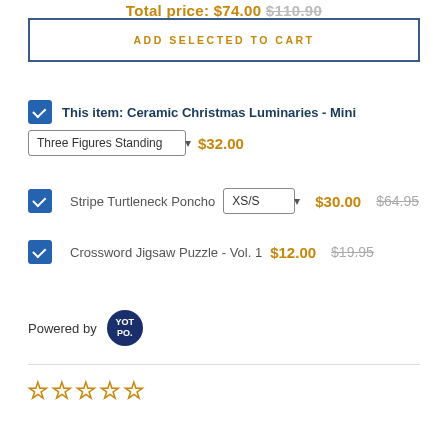Total price: $74.00 $110.90
ADD SELECTED TO CART
This item: Ceramic Christmas Luminaries - Mini
Three Figures Standing $32.00
Stripe Turtleneck Poncho XS/S $30.00 $64.95
Crossword Jigsaw Puzzle - Vol. 1 $12.00 $19.95
Powered by YOTPO.
[Figure (other): Five empty star rating icons (outline only, no fill)]